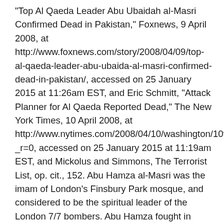“Top Al Qaeda Leader Abu Ubaidah al-Masri Confirmed Dead in Pakistan,” Foxnews, 9 April 2008, at http://www.foxnews.com/story/2008/04/09/top-al-qaeda-leader-abu-ubaida-al-masri-confirmed-dead-in-pakistan/, accessed on 25 January 2015 at 11:26am EST, and Eric Schmitt, “Attack Planner for Al Qaeda Reported Dead,” The New York Times, 10 April 2008, at http://www.nytimes.com/2008/04/10/washington/10terror.html?_r=0, accessed on 25 January 2015 at 11:19am EST, and Mickolus and Simmons, The Terrorist List, op. cit., 152. Abu Hamza al-Masri was the imam of London’s Finsbury Park mosque, and considered to be the spiritual leader of the London 7/7 bombers. Abu Hamza fought in Bosnia in the 1990s, married a Bosnian war widow, and was granted Bosnian citizenship. In July 2005, Douglas Farah reported that Western intelligence officials had been warning that a large quantity of high-level plastic